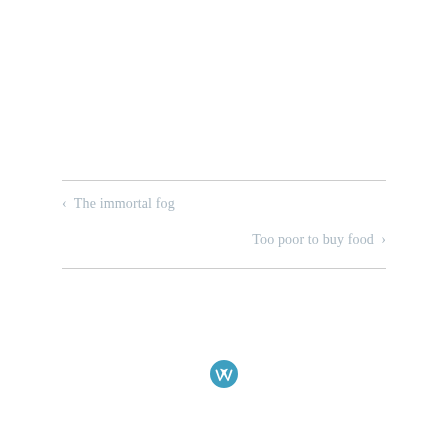< The immortal fog
Too poor to buy food >
[Figure (logo): WordPress logo — blue circle with white W]